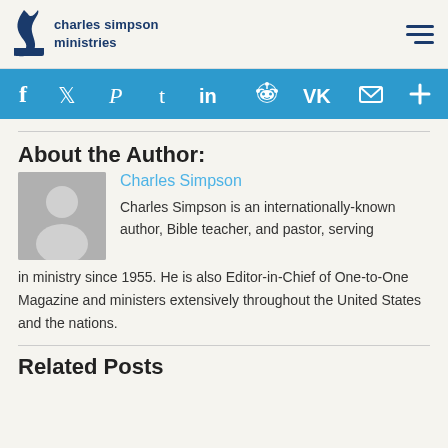charles simpson ministries
[Figure (screenshot): Social media sharing bar with icons: Facebook, Twitter, Pinterest, Tumblr, LinkedIn, Reddit, VK, Email, More]
About the Author:
[Figure (photo): Generic grey silhouette avatar placeholder image]
Charles Simpson
Charles Simpson is an internationally-known author, Bible teacher, and pastor, serving in ministry since 1955. He is also Editor-in-Chief of One-to-One Magazine and ministers extensively throughout the United States and the nations.
Related Posts